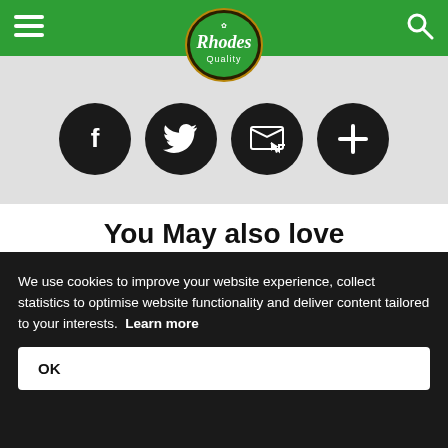Rhodes Quality
[Figure (logo): Rhodes Quality logo — oval green badge with decorative script text 'Rhodes' and 'Quality' below]
[Figure (infographic): Four dark circular social share buttons: Facebook (f), Twitter (bird), Email (envelope), and More (+)]
You May also love
[Figure (photo): Partial photo of a Rhodes Quality food product with a plate, shot on a burlap/linen background]
We use cookies to improve your website experience, collect statistics to optimise website functionality and deliver content tailored to your interests. Learn more
OK